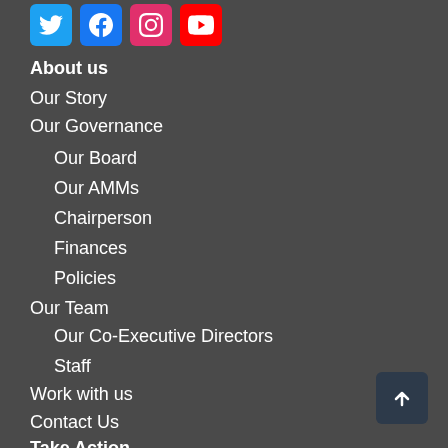[Figure (illustration): Social media icons: Twitter (blue bird), Facebook (blue f), Instagram (pink/red camera), YouTube (red play button)]
About us
Our Story
Our Governance
Our Board
Our AMMs
Chairperson
Finances
Policies
Our Team
Our Co-Executive Directors
Staff
Work with us
Contact Us
Take Action
Our Campaigns
[Figure (illustration): Back to top button with upward arrow icon]